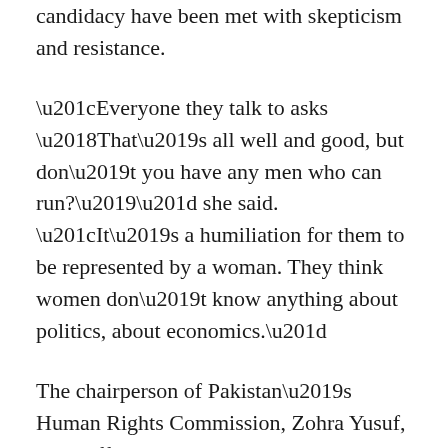candidacy have been met with skepticism and resistance.
“Everyone they talk to asks ‘That’s all well and good, but don’t you have any men who can run?’” she said. “It’s a humiliation for them to be represented by a woman. They think women don’t know anything about politics, about economics.”
The chairperson of Pakistan’s Human Rights Commission, Zohra Yusuf, says different provinces are making progress on women’s issues at different paces. Southern Sindh is